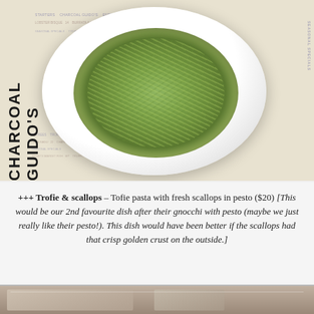[Figure (photo): A white round plate of trofie pasta with pesto and scallops, placed on a restaurant menu/newspaper. 'CHARCOAL GUIDO'S' text is visible in bold vertical lettering on the left side of the image.]
+++ Trofie & scallops – Tofie pasta with fresh scallops in pesto ($20) [This would be our 2nd favourite dish after their gnocchi with pesto (maybe we just really like their pesto!). This dish would have been better if the scallops had that crisp golden crust on the outside.]
[Figure (photo): Partial bottom strip of another food photo, cut off at the bottom of the page.]